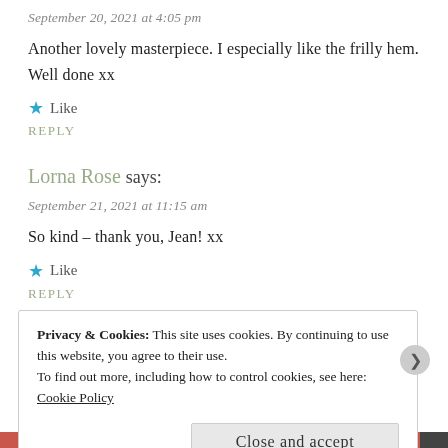September 20, 2021 at 4:05 pm
Another lovely masterpiece. I especially like the frilly hem. Well done xx
★ Like
REPLY
Lorna Rose says:
September 21, 2021 at 11:15 am
So kind – thank you, Jean! xx
★ Like
REPLY
Privacy & Cookies: This site uses cookies. By continuing to use this website, you agree to their use.
To find out more, including how to control cookies, see here: Cookie Policy
Close and accept